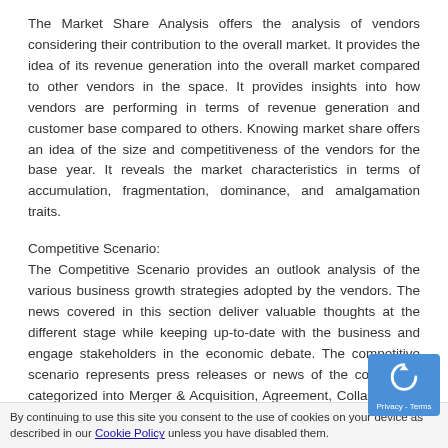The Market Share Analysis offers the analysis of vendors considering their contribution to the overall market. It provides the idea of its revenue generation into the overall market compared to other vendors in the space. It provides insights into how vendors are performing in terms of revenue generation and customer base compared to others. Knowing market share offers an idea of the size and competitiveness of the vendors for the base year. It reveals the market characteristics in terms of accumulation, fragmentation, dominance, and amalgamation traits.
Competitive Scenario:
The Competitive Scenario provides an outlook analysis of the various business growth strategies adopted by the vendors. The news covered in this section deliver valuable thoughts at the different stage while keeping up-to-date with the business and engage stakeholders in the economic debate. The competitive scenario represents press releases or news of the companies categorized into Merger & Acquisition, Agreement, Collaboration, & Partne... New Product Launch & Enhancement, Investm...
By continuing to use this site you consent to the use of cookies on your device as described in our Cookie Policy unless you have disabled them.